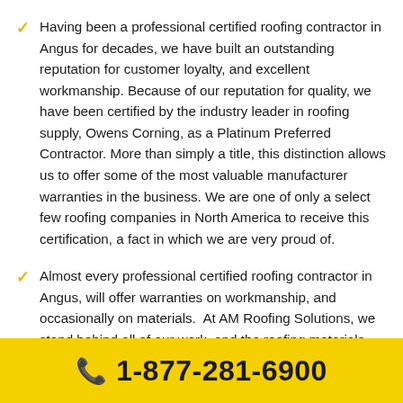Having been a professional certified roofing contractor in Angus for decades, we have built an outstanding reputation for customer loyalty, and excellent workmanship. Because of our reputation for quality, we have been certified by the industry leader in roofing supply, Owens Corning, as a Platinum Preferred Contractor. More than simply a title, this distinction allows us to offer some of the most valuable manufacturer warranties in the business. We are one of only a select few roofing companies in North America to receive this certification, a fact in which we are very proud of.
Almost every professional certified roofing contractor in Angus, will offer warranties on workmanship, and occasionally on materials.  At AM Roofing Solutions, we stand behind all of our work, and the roofing materials that we use. Due to our title of Owens Corning Platinum Preferred Contractor, we are able to offer manufacturer warranties of up to 50yrs, when you choose Owens Corning Shingles for your roofing system. As always, we also offer a ten-year workmanship warranty on
1-877-281-6900